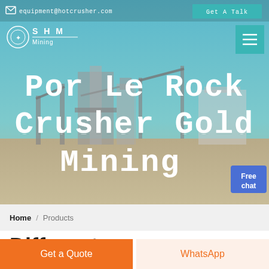[Figure (screenshot): Mining equipment website screenshot showing a header with email contact, navigation logo for SHM Mining, and a hero image of a mining/crushing plant facility with overlay text 'Por Le Rock Crusher Gold Mining'. Includes a teal 'Get A Talk' button, hamburger menu icon, and a blue 'Free chat' widget.]
equipment@hotcrusher.com   Get A Talk
Por Le Rock Crusher Gold Mining
Home / Products
Different Machines To Meet All
Get a Quote   WhatsApp